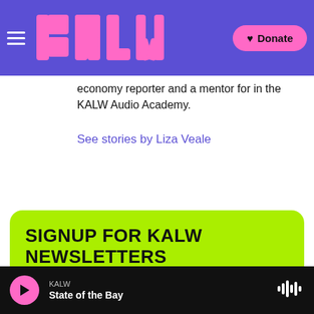KALW — Donate
economy reporter and a mentor for in the KALW Audio Academy.
See stories by Liza Veale
SIGNUP FOR KALW NEWSLETTERS
default@example.com
Subscribe
KALW — State of the Bay